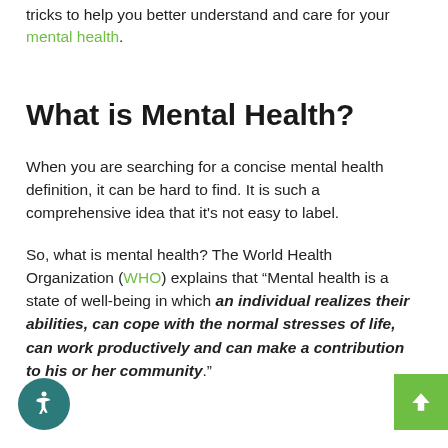tricks to help you better understand and care for your mental health.
What is Mental Health?
When you are searching for a concise mental health definition, it can be hard to find. It is such a comprehensive idea that it's not easy to label.
So, what is mental health? The World Health Organization (WHO) explains that "Mental health is a state of well-being in which an individual realizes their abilities, can cope with the normal stresses of life, can work productively and can make a contribution to his or her community."